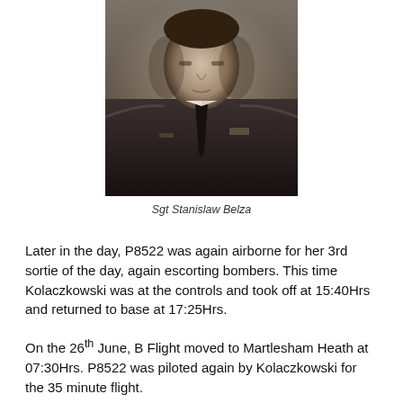[Figure (photo): Black and white portrait photograph of Sgt Stanislaw Belza in military uniform]
Sgt Stanislaw Belza
Later in the day, P8522 was again airborne for her 3rd sortie of the day, again escorting bombers. This time Kolaczkowski was at the controls and took off at 15:40Hrs and returned to base at 17:25Hrs.
On the 26th June, B Flight moved to Martlesham Heath at 07:30Hrs. P8522 was piloted again by Kolaczkowski for the 35 minute flight.